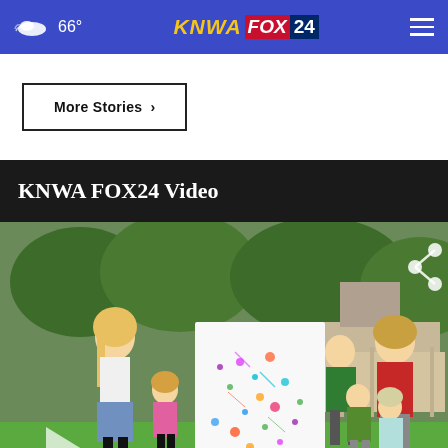66° | KNWA FOX24
More Stories ›
KNWA FOX24 Video
[Figure (photo): A group of people outdoors on grass in a backyard, holding a colorful splatter paint canvas. Two adult women and four children are shown. A play button overlay is visible on the left side. A share icon appears in the upper right. #NWAnews watermark in bottom right corner.]